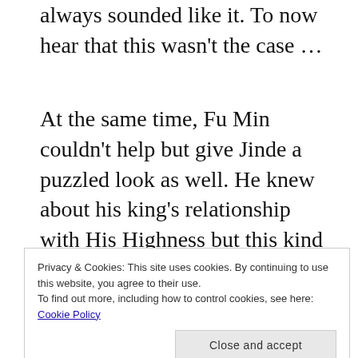always sounded like it. To now hear that this wasn't the case …
At the same time, Fu Min couldn't help but give Jinde a puzzled look as well. He knew about his king's relationship with His Highness but this kind of detail was something even he had no idea about. How come some substitute scholar he had never heard of knew such intimate details? How did he even know
Privacy & Cookies: This site uses cookies. By continuing to use this website, you agree to their use.
To find out more, including how to control cookies, see here: Cookie Policy
Close and accept
could imagine that he and his husband might